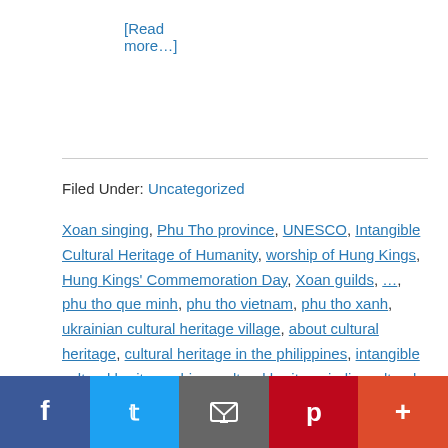[Read more...]
Filed Under: Uncategorized
Xoan singing, Phu Tho province, UNESCO, Intangible Cultural Heritage of Humanity, worship of Hung Kings, Hung Kings' Commemoration Day, Xoan guilds, ..., phu tho que minh, phu tho vietnam, phu tho xanh, ukrainian cultural heritage village, about cultural heritage, cultural heritage in the philippines, intangible cultural heritage china, cultural heritage india, cultural heritage examples, about cultural heritage of india, pennsylvania german cultural heritage center, what is cultural heritage
Social share bar: Facebook, Twitter, Email, Pinterest, Plus